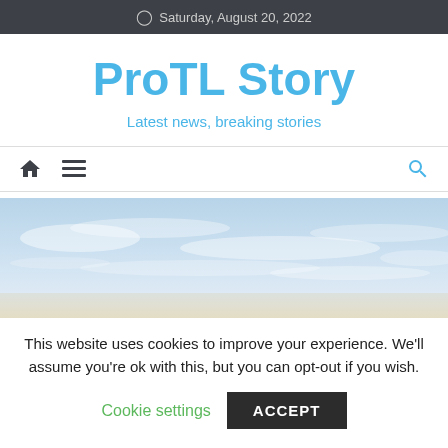Saturday, August 20, 2022
ProTL Story
Latest news, breaking stories
[Figure (screenshot): Navigation bar with home icon, hamburger menu icon on left, and search (magnifying glass) icon on right in blue]
[Figure (photo): Wide panoramic photo of a pastel sky with wispy clouds, light blue and cream tones]
This website uses cookies to improve your experience. We'll assume you're ok with this, but you can opt-out if you wish.
Cookie settings  ACCEPT